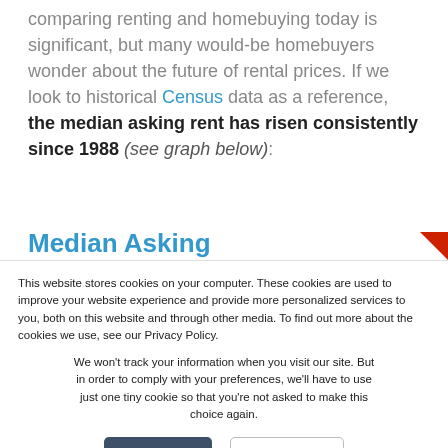comparing renting and homebuying today is significant, but many would-be homebuyers wonder about the future of rental prices. If we look to historical Census data as a reference, the median asking rent has risen consistently since 1988 (see graph below):
Median Asking
This website stores cookies on your computer. These cookies are used to improve your website experience and provide more personalized services to you, both on this website and through other media. To find out more about the cookies we use, see our Privacy Policy.
We won't track your information when you visit our site. But in order to comply with your preferences, we'll have to use just one tiny cookie so that you're not asked to make this choice again.